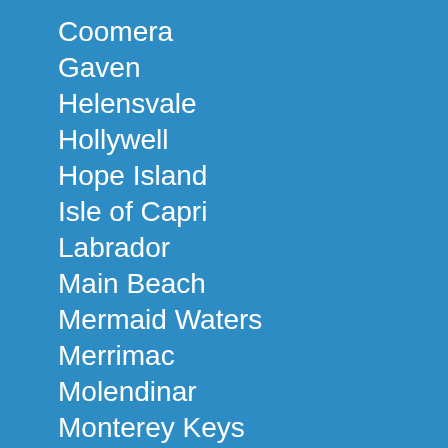Coomera
Gaven
Helensvale
Hollywell
Hope Island
Isle of Capri
Labrador
Main Beach
Mermaid Waters
Merrimac
Molendinar
Monterey Keys
Nerang
Oxenford